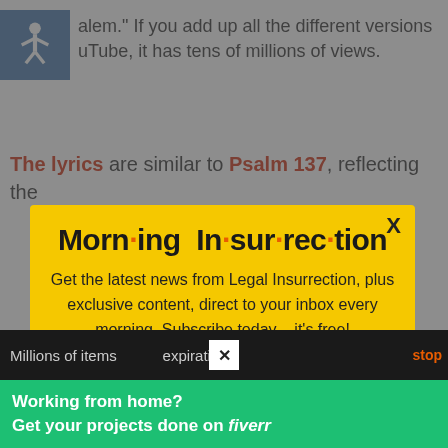alem.” If you add up all the different versions uTube, it has tens of millions of views.
The lyrics are similar to Psalm 137, reflecting the
[Figure (screenshot): Morning Insurrection newsletter subscription modal popup with yellow background and orange JOIN NOW button]
Millions of items no expiration
Working from home? Get your projects done on fiverr